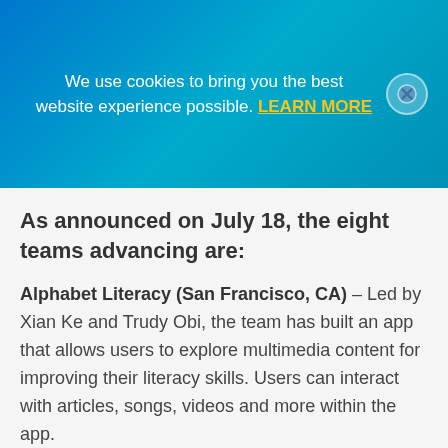We use cookies to bring you the best website experience possible. LEARN MORE
As announced on July 18, the eight teams advancing are:
Alphabet Literacy (San Francisco, CA) – Led by Xian Ke and Trudy Obi, the team has built an app that allows users to explore multimedia content for improving their literacy skills. Users can interact with articles, songs, videos and more within the app.
AmritaCREATE, Amrita University